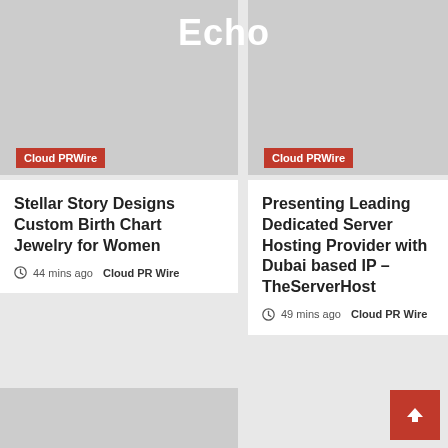Echo
[Figure (photo): Gray placeholder image, left column top]
[Figure (photo): Gray placeholder image, right column top]
Cloud PRWire
Cloud PRWire
Stellar Story Designs Custom Birth Chart Jewelry for Women
44 mins ago  Cloud PR Wire
Presenting Leading Dedicated Server Hosting Provider with Dubai based IP – TheServerHost
49 mins ago  Cloud PR Wire
[Figure (photo): Gray placeholder image, bottom left]